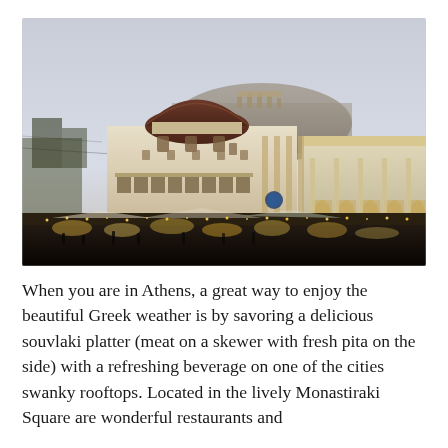[Figure (photo): Photograph of Monastiraki Square in Athens at dusk. In the center is a large domed Ottoman-era mosque (Tzistarakis Mosque) with arched colonnades. Behind it rises the rocky Acropolis hill. To the right is a neoclassical building with arched colonnades. The foreground shows a busy market area with lights, stalls, and crowds. The sky is a pale blue-grey evening sky.]
When you are in Athens, a great way to enjoy the beautiful Greek weather is by savoring a delicious souvlaki platter (meat on a skewer with fresh pita on the side) with a refreshing beverage on one of the cities swanky rooftops. Located in the lively Monastiraki Square are wonderful restaurants and